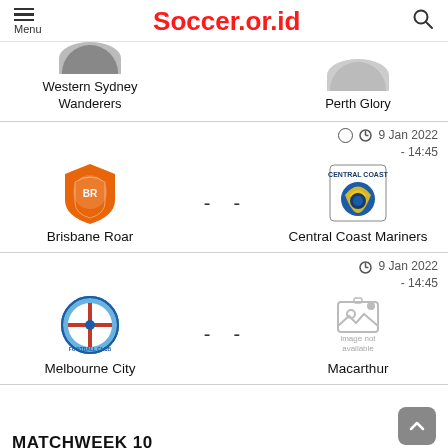Soccer.or.id
Western Sydney Wanderers vs Perth Glory
9 Jan 2022 - 14:45
Brisbane Roar - - Central Coast Mariners
9 Jan 2022 - 14:45
Melbourne City - - Macarthur
MATCHWEEK 10